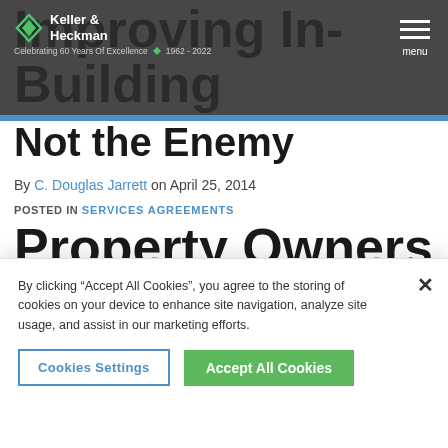Keller & Heckman — Celebrating 60 Years Of Excellence 1962 - 2022
Improving In-Building Wireless Reception: Property Owners Are Not the Enemy
By C. Douglas Jarrett on April 25, 2014
POSTED IN SERVICES AGREEMENTS
[Figure (photo): Headshot photo of C. Douglas Jarrett, a middle-aged man with grey hair and glasses against a grey background]
By clicking “Accept All Cookies”, you agree to the storing of cookies on your device to enhance site navigation, analyze site usage, and assist in our marketing efforts.
Cookies Settings | Accept All Cookies